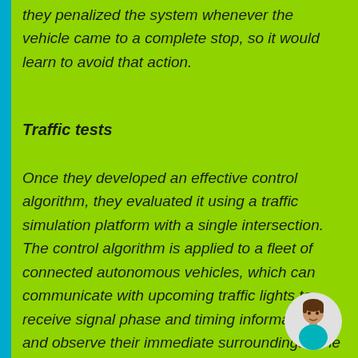they penalized the system whenever the vehicle came to a complete stop, so it would learn to avoid that action.
Traffic tests
Once they developed an effective control algorithm, they evaluated it using a traffic simulation platform with a single intersection. The control algorithm is applied to a fleet of connected autonomous vehicles, which can communicate with upcoming traffic lights to receive signal phase and timing information and observe their immediate surroundings. The control algorithm tells each vehicle how to accelerate and decelerate.
[Figure (illustration): A circular avatar icon showing a person with brown hair wearing a teal/cyan shirt, on a white/light circular background.]